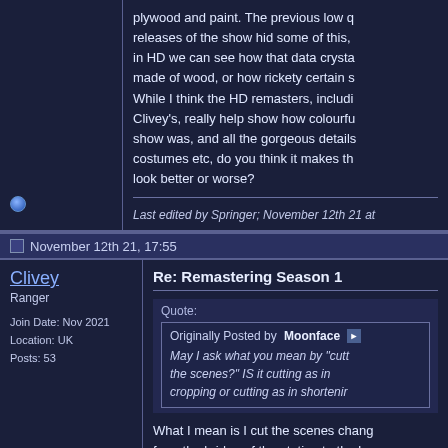plywood and paint. The previous low quality releases of the show hid some of this, but in HD we can see how that data crystal is made of wood, or how rickety certain sets are. While I think the HD remasters, including Clivey's, really help show how colourful the show was, and all the gorgeous details in costumes etc, do you think it makes the show look better or worse?
Last edited by Springer; November 12th 21 at
November 12th 21, 17:55
Clivey
Ranger
Join Date: Nov 2021
Location: UK
Posts: 53
Re: Remastering Season 1
Quote:
Originally Posted by Moonface
May I ask what you mean by "cutting the scenes?" IS it cutting as in cropping or cutting as in shortening
What I mean is I cut the scenes changes from the bridge of the station to the ba... did this because if you just set one enhancement setting for the whole epi... some scenes don't clean up as well, s...